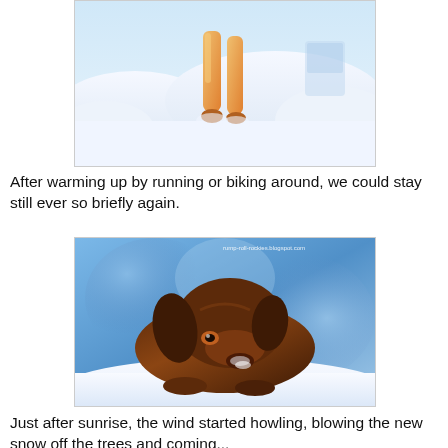[Figure (photo): Close-up photo of a dog's legs and paw standing in deep snow with warm golden light in background]
After warming up by running or biking around, we could stay still ever so briefly again.
[Figure (photo): A brown/chocolate Labrador dog lying in snow with blue bokeh background, watermark reads 'rump-roll-rockies.blogspot.com']
Just after sunrise, the wind started howling, blowing the new snow off the trees and coming...